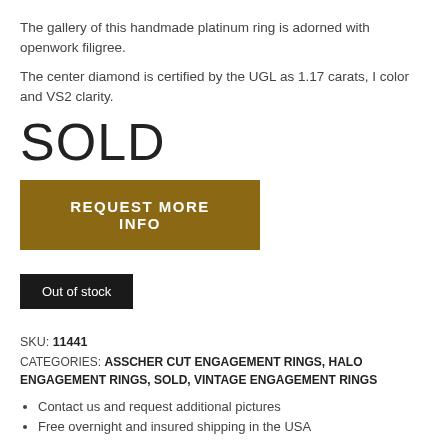The gallery of this handmade platinum ring is adorned with openwork filigree.
The center diamond is certified by the UGL as 1.17 carats, I color and VS2 clarity.
SOLD
REQUEST MORE INFO
Out of stock
SKU: 11441
CATEGORIES: ASSCHER CUT ENGAGEMENT RINGS, HALO ENGAGEMENT RINGS, SOLD, VINTAGE ENGAGEMENT RINGS
Contact us and request additional pictures
Free overnight and insured shipping in the USA